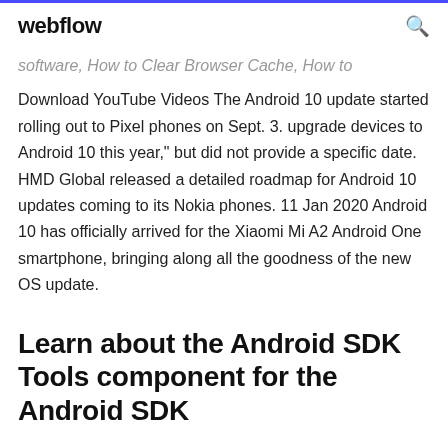webflow
software, How to Clear Browser Cache, How to Download YouTube Videos The Android 10 update started rolling out to Pixel phones on Sept. 3. upgrade devices to Android 10 this year," but did not provide a specific date. HMD Global released a detailed roadmap for Android 10 updates coming to its Nokia phones. 11 Jan 2020 Android 10 has officially arrived for the Xiaomi Mi A2 Android One smartphone, bringing along all the goodness of the new OS update.
Learn about the Android SDK Tools component for the Android SDK